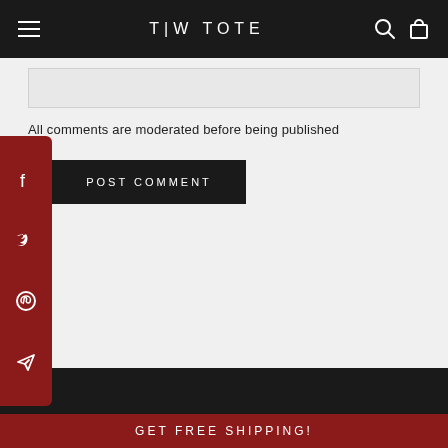T|W TOTE
All comments are moderated before being published
POST COMMENT
GET FREE SHIPPING!